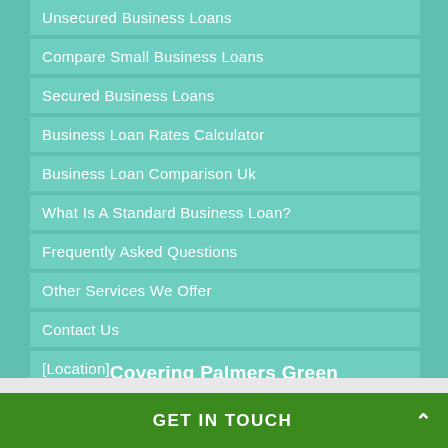Unsecured Business Loans
Compare Small Business Loans
Secured Business Loans
Business Loan Rates Calculator
Business Loan Comparison Uk
What Is A Standard Business Loan?
Frequently Asked Questions
Other Services We Offer
Contact Us
[Location]
Covering Palmers Green
GET IN TOUCH